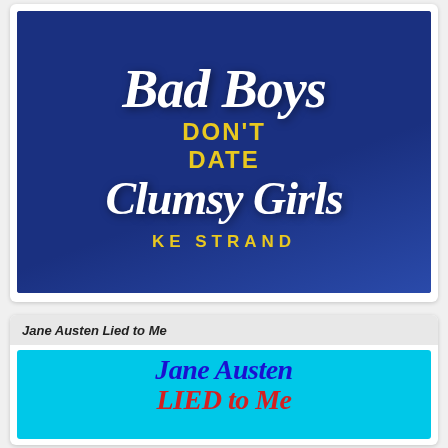[Figure (illustration): Book cover for 'Bad Boys Don't Date Clumsy Girls' by KE Strand. Dark blue background with white italic script text 'Bad Boys' and 'Clumsy Girls', yellow bold text 'DON'T DATE' and 'KE STRAND'.]
Jane Austen Lied to Me
[Figure (illustration): Book cover for 'Jane Austen Lied to Me'. Bright cyan/turquoise background with dark blue italic script 'Jane Austen' and red italic 'Lied to Me' text.]